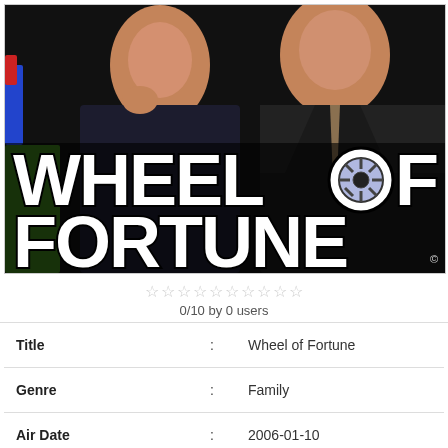[Figure (photo): Wheel of Fortune TV show promotional image showing two hosts (a woman in dark dress and a man in a suit with tie) with the 'WHEEL OF FORTUNE' logo in large white bold text overlaid on a dark background. The 'O' in 'OF' is replaced with a wheel/spinner icon.]
0/10 by 0 users
| Title | : | Wheel of Fortune |
| Genre | : | Family |
| Air Date | : | 2006-01-10 |